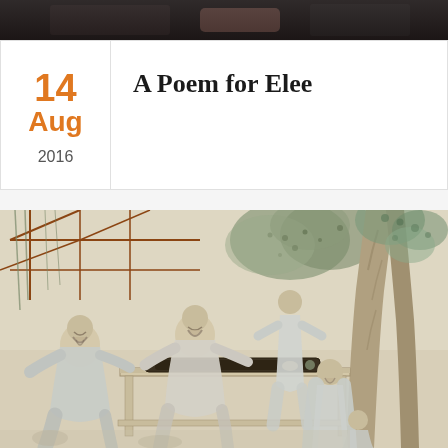[Figure (photo): Partial view of a photograph at the top of the page, showing a dark/muted scene cropped to a thin strip]
14
Aug
2016
A Poem for Elee
[Figure (illustration): Traditional Chinese painting showing several robed scholars/gentlemen seated and standing around a table outdoors, with large trees on the right side and a lattice structure in the background. The figures are engaged in scholarly activities including what appears to be playing a musical instrument (guqin) on the table.]